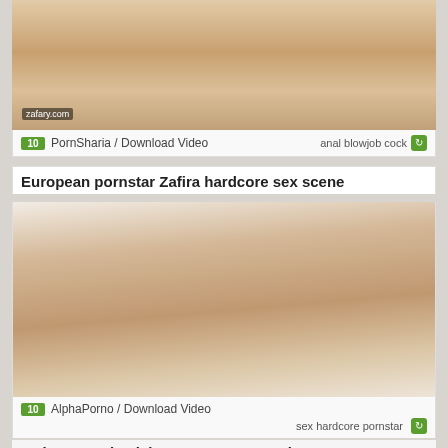[Figure (photo): Partial thumbnail of adult video, cropped at top of page]
PornSharia / Download Video    anal blowjob cock
European pornstar Zafira hardcore sex scene
[Figure (photo): Thumbnail of adult video featuring a woman]
AlphaPorno / Download Video    sex hardcore pornstar
Trying to go back into mommy's womb...